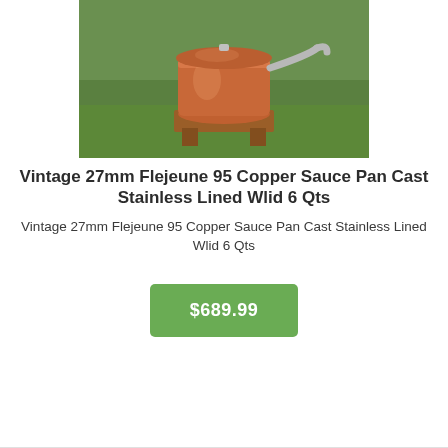[Figure (photo): Vintage copper sauce pan with stainless handle and lid, sitting on a wooden stand on grass outdoors]
Vintage 27mm Flejeune 95 Copper Sauce Pan Cast Stainless Lined Wlid 6 Qts
Vintage 27mm Flejeune 95 Copper Sauce Pan Cast Stainless Lined Wlid 6 Qts
$689.99